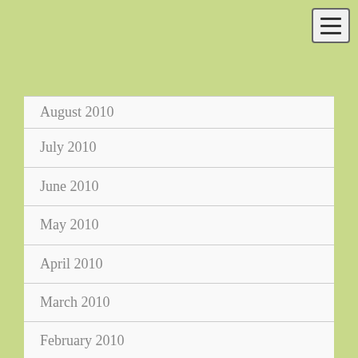August 2010
July 2010
June 2010
May 2010
April 2010
March 2010
February 2010
January 2010
December 2009
November 2009